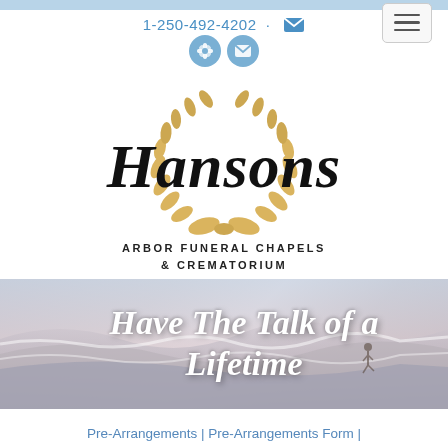1-250-492-4202 · [email icon]
[Figure (logo): Hansons Arbor Funeral Chapels & Crematorium logo with gold laurel wreath and script text]
[Figure (photo): Coastal beach scene with waves and a person running, overlaid with text: Have The Talk of a Lifetime]
Pre-Arrangements | Pre-Arrangements Form | Have The Talk of a Lifetime